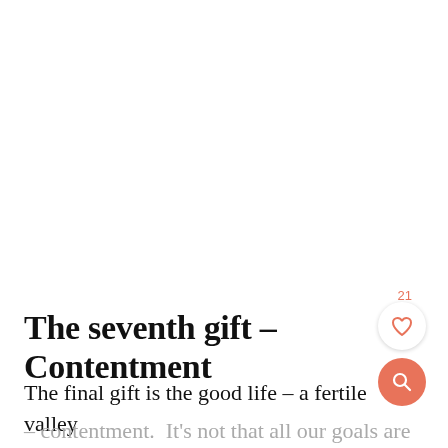21
The seventh gift – Contentment
The final gift is the good life – a fertile valley
– contentment.  It's not that all our goals are